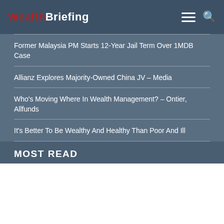WealthBriefing
Former Malaysia PM Starts 12-Year Jail Term Over 1MDB Case
Allianz Explores Majority-Owned China JV – Media
Who's Moving Where In Wealth Management? – Ontier, Allfunds
It's Better To Be Wealthy And Healthy Than Poor And Ill
MOST READ